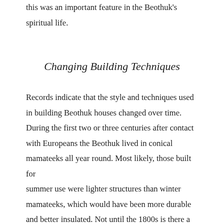this was an important feature in the Beothuk's spiritual life.
Changing Building Techniques
Records indicate that the style and techniques used in building Beothuk houses changed over time. During the first two or three centuries after contact with Europeans the Beothuk lived in conical mamateeks all year round. Most likely, those built for summer use were lighter structures than winter mamateeks, which would have been more durable and better insulated. Not until the 1800s is there a record of more solidly built winter quarters with